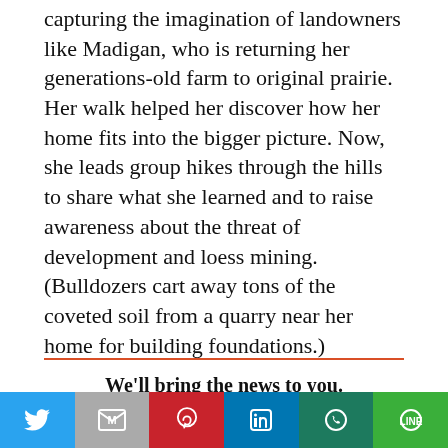capturing the imagination of landowners like Madigan, who is returning her generations-old farm to original prairie. Her walk helped her discover how her home fits into the bigger picture. Now, she leads group hikes through the hills to share what she learned and to raise awareness about the threat of development and loess mining. (Bulldozers cart away tons of the coveted soil from a quarry near her home for building foundations.)
We'll bring the news to you.
Get the weekly Civil Eats newsletter, delivered to your inbox.